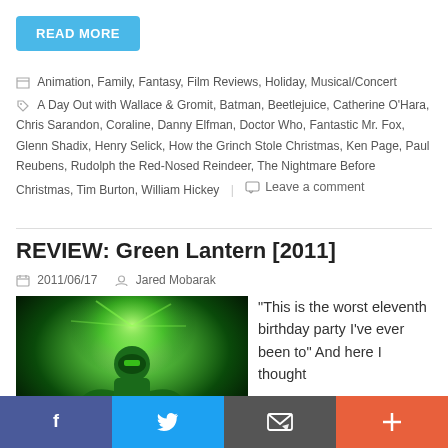[Figure (other): READ MORE button in cyan/blue]
Animation, Family, Fantasy, Film Reviews, Holiday, Musical/Concert
A Day Out with Wallace & Gromit, Batman, Beetlejuice, Catherine O'Hara, Chris Sarandon, Coraline, Danny Elfman, Doctor Who, Fantastic Mr. Fox, Glenn Shadix, Henry Selick, How the Grinch Stole Christmas, Ken Page, Paul Reubens, Rudolph the Red-Nosed Reindeer, The Nightmare Before Christmas, Tim Burton, William Hickey | Leave a comment
REVIEW: Green Lantern [2011]
2011/06/17   Jared Mobarak
[Figure (photo): Green Lantern movie still showing a person in green superhero costume surrounded by green light/energy]
“This is the worst eleventh birthday party I’ve ever been to” And here I thought